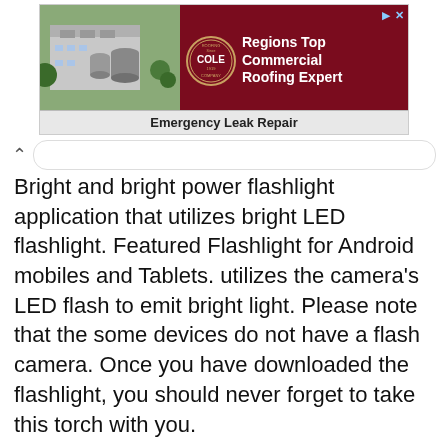[Figure (illustration): Cole Roofing Company advertisement banner showing aerial photo of building with COLE ROOFING SINCE 1919 logo, text 'Regions Top Commercial Roofing Expert' and 'Emergency Leak Repair']
Bright and bright power flashlight application that utilizes bright LED flashlight. Featured Flashlight for Android mobiles and Tablets. utilizes the camera's LED flash to emit bright light. Please note that the some devices do not have a flash camera. Once you have downloaded the flashlight, you should never forget to take this torch with you.
Flash on ALL and SMS:
Flash alert on call and SMS is a smart application to remind you of call or SMS that comes with a flashing camera flashlight. Therefore, call on SMS and this flash on flash will clearly notify you through flash alert